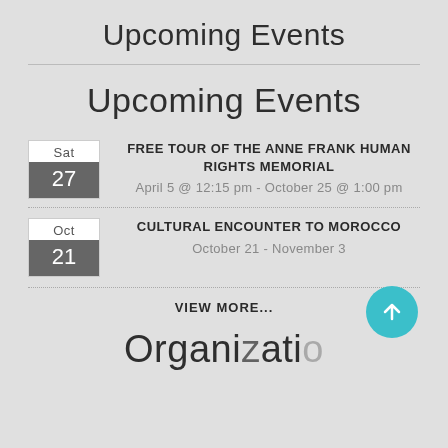Upcoming Events
Upcoming Events
FREE TOUR OF THE ANNE FRANK HUMAN RIGHTS MEMORIAL
April 5 @ 12:15 pm - October 25 @ 1:00 pm
CULTURAL ENCOUNTER TO MOROCCO
October 21 - November 3
VIEW MORE...
Org…